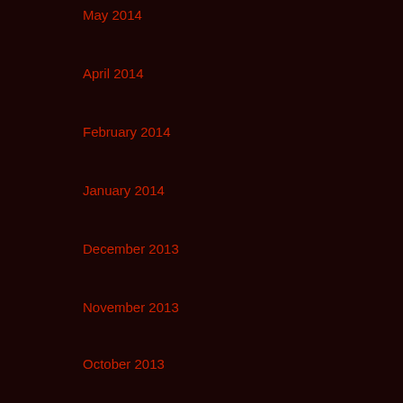May 2014
April 2014
February 2014
January 2014
December 2013
November 2013
October 2013
Categories
CM@UIW
CMC Member Highlights
News
Talk Series